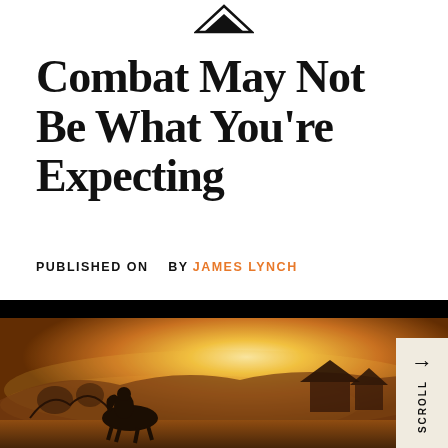Combat May Not Be What You're Expecting
PUBLISHED ON   BY JAMES LYNCH
[Figure (photo): A warrior on horseback silhouetted against a dramatic golden sunset, with misty feudal Japanese landscape, village structures, and atmospheric haze. A scroll tab on the right side reads SCROLL with an arrow.]